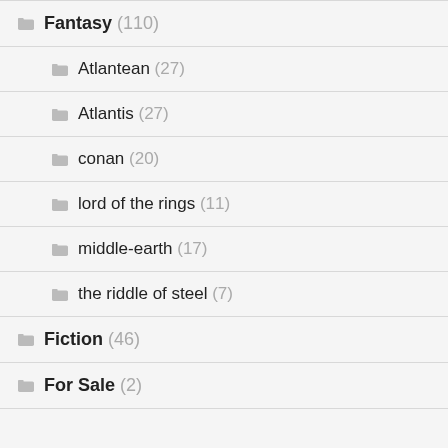Fantasy (110)
Atlantean (27)
Atlantis (27)
conan (20)
lord of the rings (11)
middle-earth (17)
the riddle of steel (7)
Fiction (46)
For Sale (2)